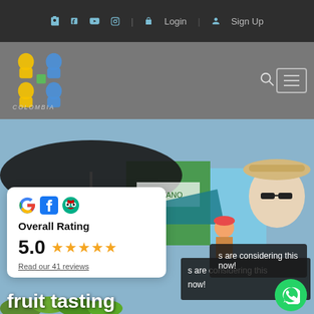f  t  youtube  instagram  Login  Sign Up
[Figure (logo): Colombia BnB logo with colorful butterfly/figure icons in yellow, blue, green on gray nav bar background]
[Figure (photo): Market scene with people under dark umbrella, green building in background, man in hat with sunglasses in foreground]
Overall Rating
5.0 ★★★★★
Read our 41 reviews
s are considering this now!
fruit tasting